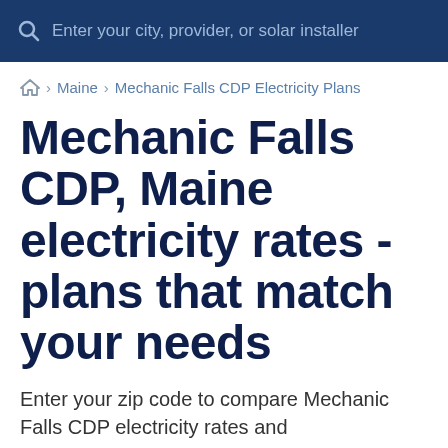Enter your city, provider, or solar installer
🏠 › Maine › Mechanic Falls CDP Electricity Plans
Mechanic Falls CDP, Maine electricity rates - plans that match your needs
Enter your zip code to compare Mechanic Falls CDP electricity rates and